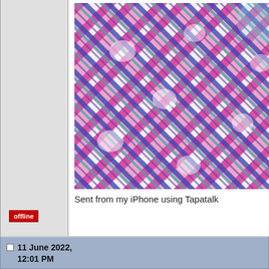[Figure (photo): Close-up photo of pink, white, blue, teal and purple plaid/checkered fabric with diagonal orientation]
Sent from my iPhone using Tapatalk
offline
11 June 2022, 12:01 PM